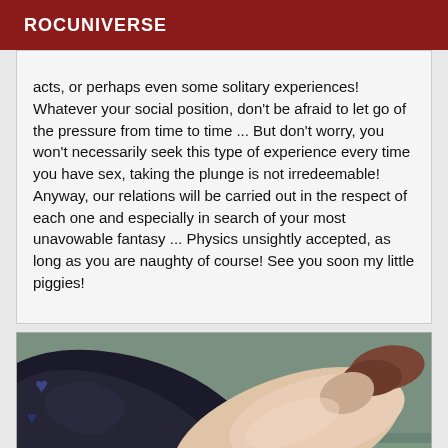ROCUNIVERSE
acts, or perhaps even some solitary experiences! Whatever your social position, don't be afraid to let go of the pressure from time to time ... But don't worry, you won't necessarily seek this type of experience every time you have sex, taking the plunge is not irredeemable! Anyway, our relations will be carried out in the respect of each one and especially in search of your most unavowable fantasy ... Physics unsightly accepted, as long as you are naughty of course! See you soon my little piggies!
[Figure (photo): A photo showing a person's leg and foot against dark fabric clothing and a teal/grey carpet background.]